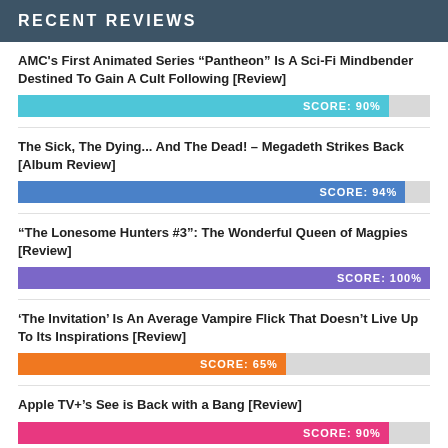RECENT REVIEWS
AMC's First Animated Series “Pantheon” Is A Sci-Fi Mindbender Destined To Gain A Cult Following [Review]
[Figure (bar-chart): Score bar]
The Sick, The Dying... And The Dead! – Megadeth Strikes Back [Album Review]
[Figure (bar-chart): Score bar]
“The Lonesome Hunters #3”: The Wonderful Queen of Magpies [Review]
[Figure (bar-chart): Score bar]
‘The Invitation’ Is An Average Vampire Flick That Doesn’t Live Up To Its Inspirations [Review]
[Figure (bar-chart): Score bar]
Apple TV+’s See is Back with a Bang [Review]
[Figure (bar-chart): Score bar]